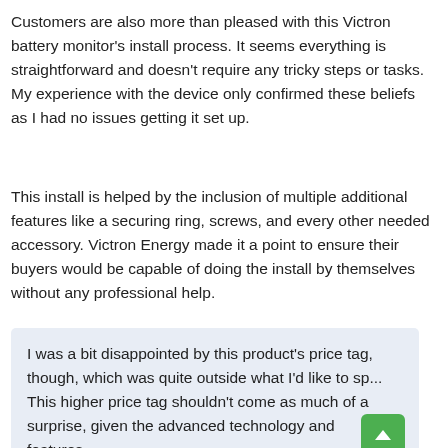Customers are also more than pleased with this Victron battery monitor's install process. It seems everything is straightforward and doesn't require any tricky steps or tasks. My experience with the device only confirmed these beliefs as I had no issues getting it set up.
This install is helped by the inclusion of multiple additional features like a securing ring, screws, and every other needed accessory. Victron Energy made it a point to ensure their buyers would be capable of doing the install by themselves without any professional help.
I was a bit disappointed by this product's price tag, though, which was quite outside what I'd like to sp... This higher price tag shouldn't come as much of a surprise, given the advanced technology and features...